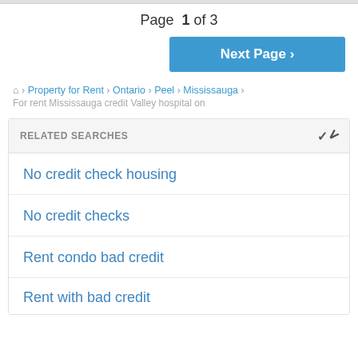Page 1 of 3
Next Page ›
⌂ › Property for Rent › Ontario › Peel › Mississauga ›
For rent Mississauga credit Valley hospital on
RELATED SEARCHES
No credit check housing
No credit checks
Rent condo bad credit
Rent with bad credit